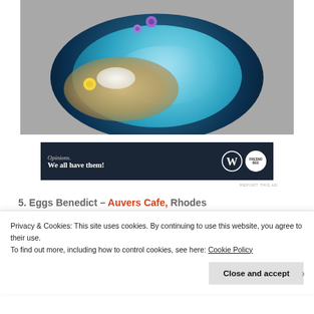[Figure (photo): Overhead view of a blue bowl with turquoise smoothie, granola, white coconut, purple and yellow edible flowers on a gray surface]
[Figure (infographic): Dark navy advertisement banner reading 'Opinions. We all have them!' with WordPress logo and Fresno Bee circular logo]
REPORT THIS AD
5. Eggs Benedict – Auvers Cafe, Rhodes
Privacy & Cookies: This site uses cookies. By continuing to use this website, you agree to their use.
To find out more, including how to control cookies, see here: Cookie Policy
Close and accept